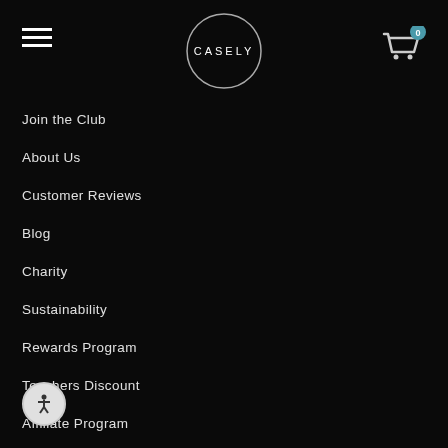CASELY — navigation header with hamburger menu and cart icon showing 0 items
Join the Club
About Us
Customer Reviews
Blog
Charity
Sustainability
Rewards Program
Teachers Discount
Affiliate Program
Sitemap
Privacy Policy